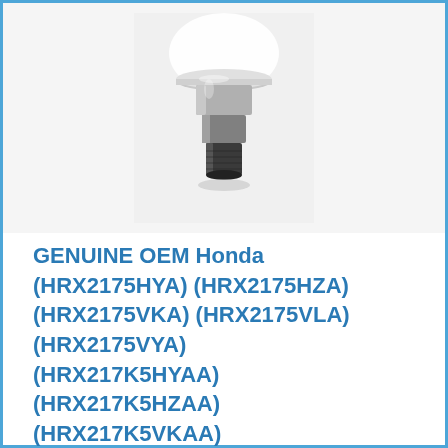[Figure (photo): A photograph of a small metal bolt or valve component, silver/chrome colored, on a white background. The part appears to be a threaded fitting or adjustment screw with a wider flanged top and narrower threaded body.]
GENUINE OEM Honda (HRX2175HYA) (HRX2175HZA) (HRX2175VKA) (HRX2175VLA) (HRX2175VYA) (HRX217K5HYAA) (HRX217K5HZAA) (HRX217K5VKAA)